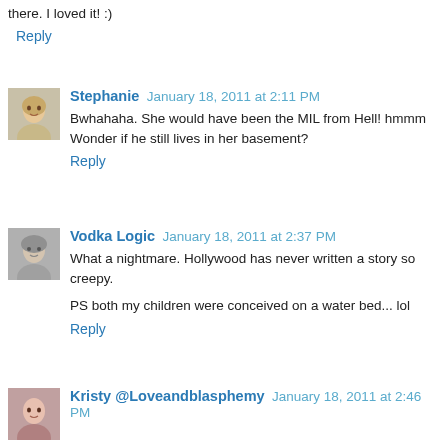there. I loved it! :)
Reply
Stephanie  January 18, 2011 at 2:11 PM
Bwhahaha. She would have been the MIL from Hell! hmmm Wonder if he still lives in her basement?
Reply
Vodka Logic  January 18, 2011 at 2:37 PM
What a nightmare. Hollywood has never written a story so creepy.
PS both my children were conceived on a water bed... lol
Reply
Kristy @Loveandblasphemy  January 18, 2011 at 2:46 PM